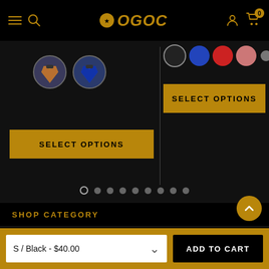[Figure (screenshot): OGOC sports shop website header with hamburger menu, search icon, OGOC logo, user icon and cart with badge showing 0]
[Figure (screenshot): Product carousel showing two jersey products with color swatches and SELECT OPTIONS buttons]
[Figure (other): Carousel navigation dots — 9 dots, first one active (outlined circle)]
SHOP CATEGORY
SHOP BRANDS
COMPANY INFO
S / Black - $40.00
ADD TO CART